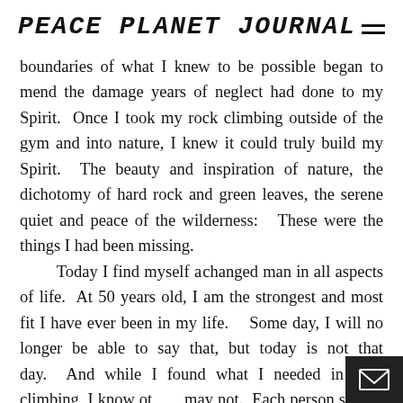PEACE PLANET JOURNAL
boundaries of what I knew to be possible began to mend the damage years of neglect had done to my Spirit.  Once I took my rock climbing outside of the gym and into nature, I knew it could truly build my Spirit.  The beauty and inspiration of nature, the dichotomy of hard rock and green leaves, the serene quiet and peace of the wilderness:  These were the things I had been missing.

    Today I find myself a changed man in all aspects of life.  At 50 years old, I am the strongest and most fit I have ever been in my life.    Some day, I will no longer be able to say that, but today is not that day.  And while I found what I needed in rock climbing, I know others may not.  Each person should seek out  and embrace